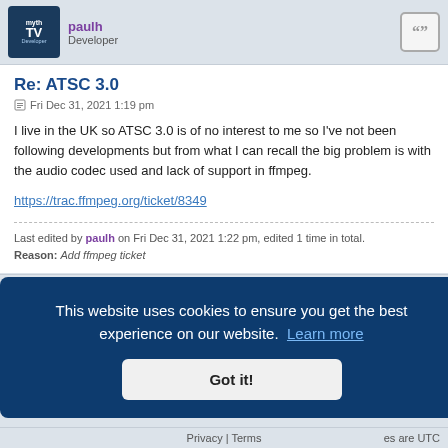paulh Developer
Re: ATSC 3.0
Fri Dec 31, 2021 1:19 pm
I live in the UK so ATSC 3.0 is of no interest to me so I've not been following developments but from what I can recall the big problem is with the audio codec used and lack of support in ffmpeg.
https://trac.ffmpeg.org/ticket/8349
Last edited by paulh on Fri Dec 31, 2021 1:22 pm, edited 1 time in total.
Reason: Add ffmpeg ticket
This website uses cookies to ensure you get the best experience on our website. Learn more
Got it!
es are UTC